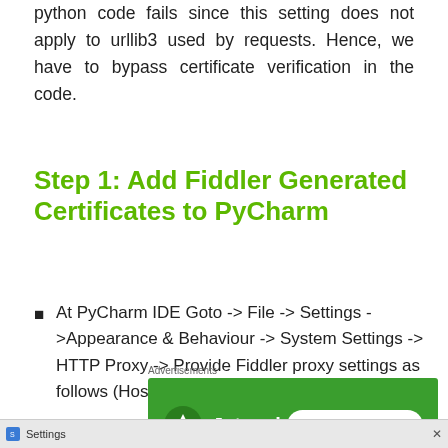python code fails since this setting does not apply to urllib3 used by requests. Hence, we have to bypass certificate verification in the code.
Step 1: Add Fiddler Generated Certificates to PyCharm
At PyCharm IDE Goto -> File -> Settings ->Appearance & Behaviour -> System Settings -> HTTP Proxy -> Provide Fiddler proxy settings as follows (Host: 127.0.0.1, Port: 8888)
[Figure (screenshot): Jetpack advertisement banner with 'Back up your site' button on green background]
[Figure (screenshot): Settings taskbar item at bottom of screen]